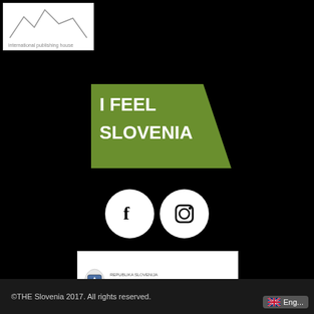[Figure (logo): International publishing house logo, top-left, white box with jagged mountain silhouette and text 'international publishing house']
[Figure (logo): I FEEL SLOVENIA logo: green parallelogram background with bold white text 'I FEEL SLOVENIA', styled with 'LOVE' highlighted]
[Figure (logo): Social media icons: white circles with Facebook 'f' logo and Instagram camera logo]
[Figure (logo): Republika Slovenija - Ministrstvo za gospodarski razvoj in tehnologijo logo with coat of arms]
[Figure (logo): Evropska Unija - Evropski Sklad za Regionalni Razvoj - Naložba v vašo prihodnost logo with EU flag and blue graphic element]
©THE Slovenia 2017. All rights reserved.
Eng...